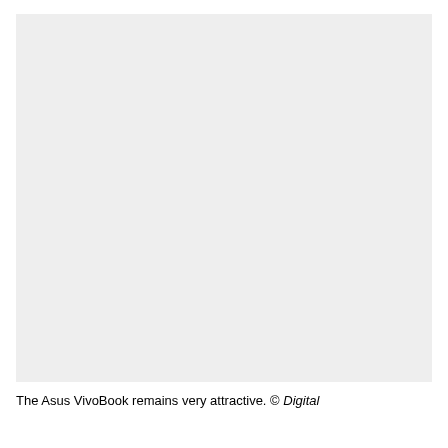[Figure (photo): Large photograph of the Asus VivoBook laptop, showing it as visually attractive. The image area appears as a light gray rectangle placeholder.]
The Asus VivoBook remains very attractive. © Digital